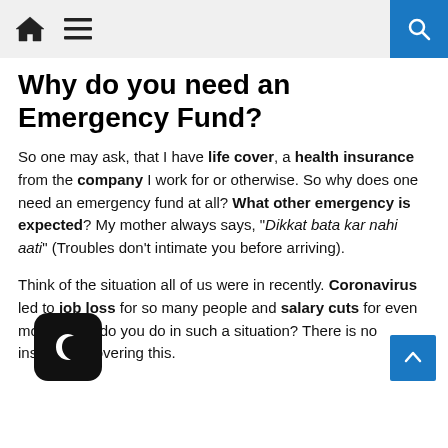[Home icon] [Menu icon] [Search icon]
Why do you need an Emergency Fund?
So one may ask, that I have life cover, a health insurance from the company I work for or otherwise. So why does one need an emergency fund at all? What other emergency is expected? My mother always says, “Dikkat bata kar nahi aati” (Troubles don’t intimate you before arriving).
Think of the situation all of us were in recently. Coronavirus led to job loss for so many people and salary cuts for even more. What do you do in such a situation? There is no insurance covering this.